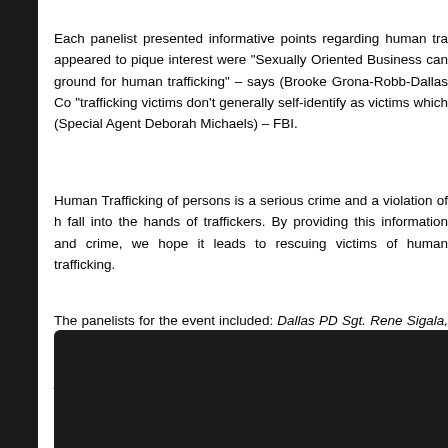Each panelist presented informative points regarding human tra... appeared to pique interest were "Sexually Oriented Business can... ground for human trafficking" – says (Brooke Grona-Robb-Dallas Co... "trafficking victims don't generally self-identify as victims which... (Special Agent Deborah Michaels) – FBI.
Human Trafficking of persons is a serious crime and a violation of h... fall into the hands of traffickers. By providing this information and... crime, we hope it leads to rescuing victims of human trafficking.
The panelists for the event included: Dallas PD Sgt. Rene Sigala, F... TCU Dr. Vanessa Bouche, LETOT Center Carla Davis, POETIC Dr.... Training Center Byron Fassett, Dallas County District Attorney's C... Trafficking survivor Chong Kim, Dart PD Deputy Chief Ed Addison, a... Sally Frank.
[Figure (photo): Dark/black photo box at the bottom of the page]